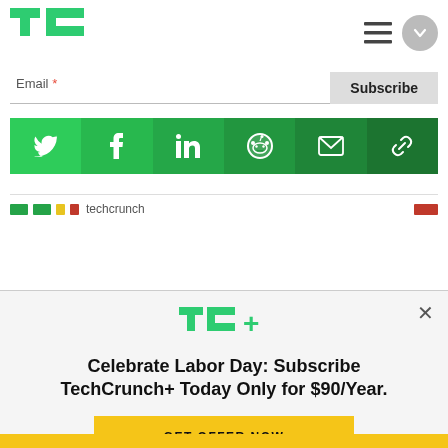[Figure (logo): TechCrunch TC logo in green]
[Figure (other): Hamburger menu icon and chevron circle button]
Email *
Subscribe
[Figure (infographic): Social sharing bar with Twitter, Facebook, LinkedIn, Reddit, Email, and Link icons on green gradient background]
[Figure (logo): TC+ logo in green]
Celebrate Labor Day: Subscribe TechCrunch+ Today Only for $90/Year.
GET OFFER NOW